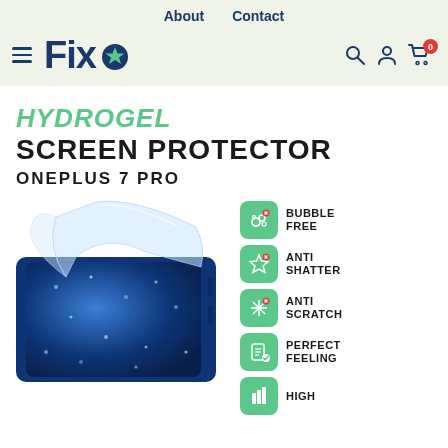About   Contact
[Figure (logo): Fixo logo with star icon in dark blue, hamburger menu on left, search/account/cart icons on right]
HYDROGEL SCREEN PROTECTOR ONEPLUS 7 PRO
[Figure (photo): Hydrogel screen protector being peeled off a blue glittery smartphone screen]
BUBBLE FREE
ANTI SHATTER
ANTI SCRATCH
PERFECT FEELING
HIGH